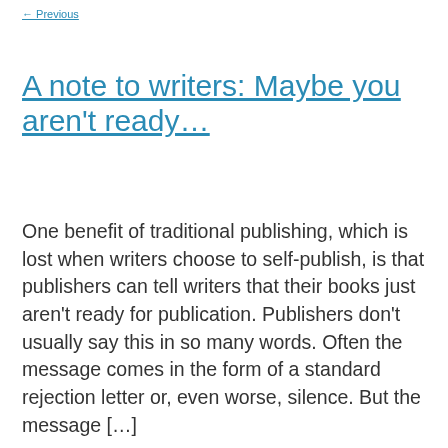← Previous
A note to writers: Maybe you aren't ready…
One benefit of traditional publishing, which is lost when writers choose to self-publish, is that publishers can tell writers that their books just aren't ready for publication. Publishers don't usually say this in so many words. Often the message comes in the form of a standard rejection letter or, even worse, silence. But the message […]